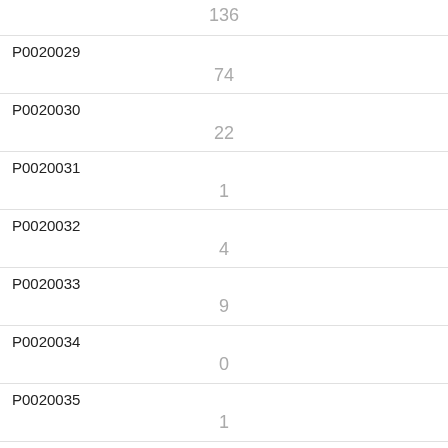| ID | Value |
| --- | --- |
| P0020028 (partial) | 136 |
| P0020029 | 74 |
| P0020030 | 22 |
| P0020031 | 1 |
| P0020032 | 4 |
| P0020033 | 9 |
| P0020034 | 0 |
| P0020035 | 1 |
| P0020036 | 14 |
| P0020037 | 4 |
| P0020038 (partial) |  |